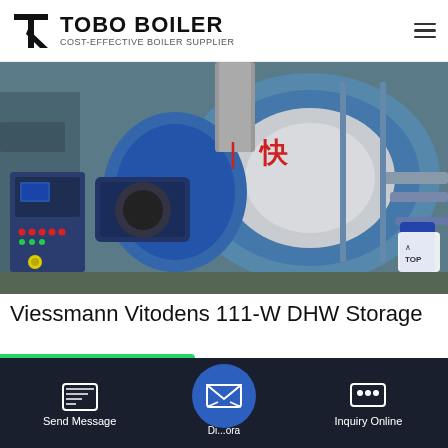TOBO BOILER — COST-EFFECTIVE BOILER SUPPLIER
[Figure (photo): Industrial boiler system with blue cylindrical body, burner unit and control panel in a factory setting. Chinese characters visible on the boiler. Control cabinet with red indicator lights on the left.]
Viessmann Vitodens 111-W DHW Storage
[Figure (screenshot): WhatsApp contact button (green banner) and bottom navigation bar with Send Message, email/direct button, and Inquiry Online icons on dark background.]